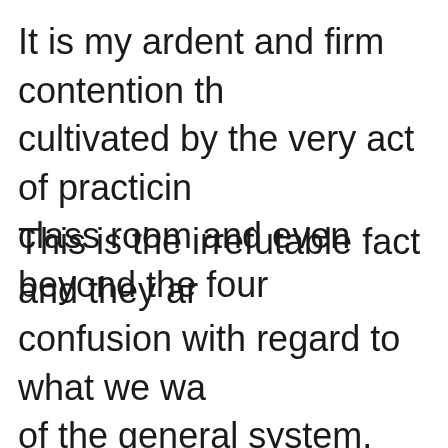It is my ardent and firm contention th... cultivated by the very act of practicin... class room and even beyond the four...
This is the irrefutable fact and they ar... confusion with regard to what we wa... of the general system. Read the rest c...